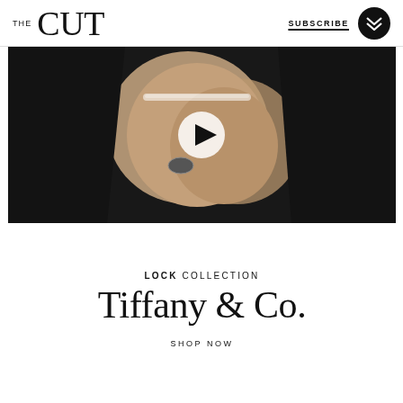THE CUT | SUBSCRIBE
[Figure (photo): Two people holding hands, one wearing a diamond tennis bracelet and ring, against a dark background. A white play button is overlaid in the center.]
[Figure (logo): Tiffany & Co. Lock Collection advertisement with text: LOCK COLLECTION, TIFFANY & CO., SHOP NOW]